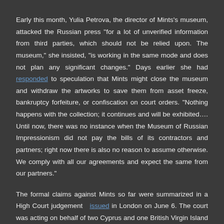Early this month, Yulia Petrova, the director of Mints's museum, attacked the Russian press “for a lot of unverified information from third parties, which should not be relied upon. The museum,” she insisted, “is working in the same mode and does not plan any significant changes.” Days earlier she had responded to speculation that Mints might close the museum and withdraw the artworks to save them from asset freeze, bankruptcy forfeiture, or confiscation on court orders. “Nothing happens with the collection; it continues and will be exhibited…. Until now, there was no instance when the Museum of Russian Impressionism did not pay the bills of its contractors and partners; right now there is also no reason to assume otherwise. We comply with all our agreements and expect the same from our partners.”
The formal claims against Mints so far were summarized in a High Court judgement issued in London on June 6. The court was acting on behalf of two Cyprus and one British Virgin Island entities